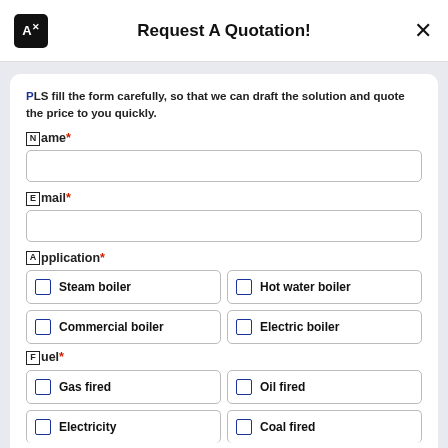Request A Quotation!
PLS fill the form carefully, so that we can draft the solution and quote the price to you quickly.
Name*
Email*
Application*
Steam boiler
Hot water boiler
Commercial boiler
Electric boiler
Fuel*
Gas fired
Oil fired
Electricity
Coal fired